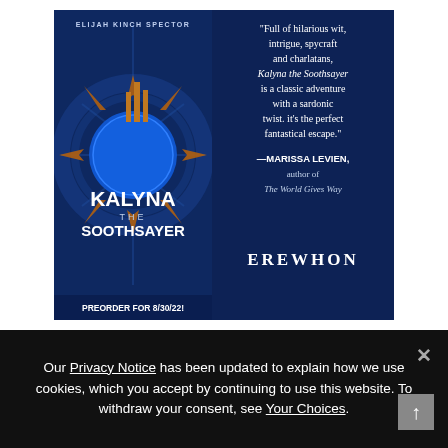[Figure (illustration): Book advertisement for 'Kalyna the Soothsayer' by Elijah Kinch Spector, published by Erewhon. Dark blue background with ornate book cover on left showing the title 'KALYNA THE SOOTHSAYER' with steampunk/fantasy art. Right side has a review quote from Marissa Levien. Bottom shows preorder date 8/30/22.]
Our Privacy Notice has been updated to explain how we use cookies, which you accept by continuing to use this website. To withdraw your consent, see Your Choices.